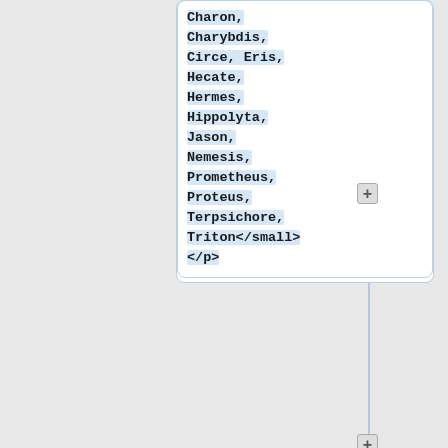Charon, Charybdis, Circe, Eris, Hecate, Hermes, Hippolyta, Jason, Nemesis, Prometheus, Proteus, Terpsichore, Triton</small>
</p>
<p style="padding-left: 2em;color:#6a1b9a"><b>End of Your Turn:</b> <b>Once</b>, choose one of your Workers